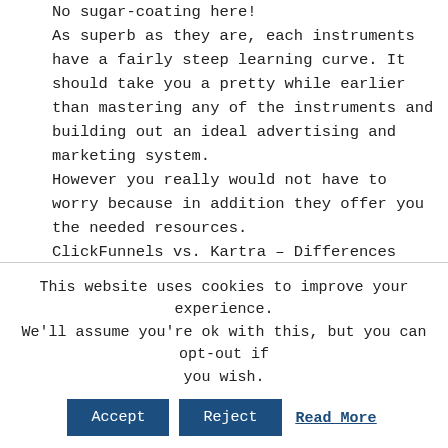No sugar-coating here!
As superb as they are, each instruments have a fairly steep learning curve. It should take you a pretty while earlier than mastering any of the instruments and building out an ideal advertising and marketing system.
However you really would not have to worry because in addition they offer you the needed resources.
ClickFunnels vs. Kartra – Differences
Both tools are superior – not being biased – however as you would like to know. There are quite a lot of variations in their mode of functionality, operation and sophistication level.
It doesn't end there. Let's look at how ClickFunnels...
This website uses cookies to improve your experience. We'll assume you're ok with this, but you can opt-out if you wish.
Accept  Reject  Read More